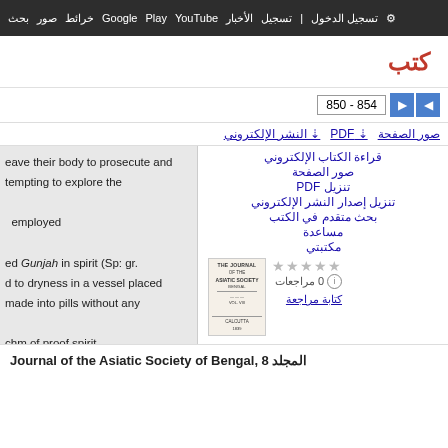بحث صور خرائط Google Play YouTube الأخبار تسجيل الدخول تسجيل الإعدادات
كتب
850 - 854
صور الصفحة  PDF  النشر الإلكتروني
eave their body to prosecute and tempting to explore the
قراءة الكتاب الإلكتروني
صور الصفحة
تنزيل PDF
تنزيل إصدار النشر الإلكتروني
بحث متقدم في الكتب
مساعدة
مكتبتي
employed
ed Gunjah in spirit (Sp: gr.
d to dryness in a vessel placed
nade into pills without any
0 مراجعات
كتابة مراجعة
[Figure (photo): Book cover thumbnail for Journal of the Asiatic Society of Bengal]
chm of proof spirit
oxysms cease, or catalepsy is
xtent of ten to twenty grains, to
en drops of the tincture every
back warmth to the surface. My
Journal of the Asiatic Society of Bengal, 8 المجلد